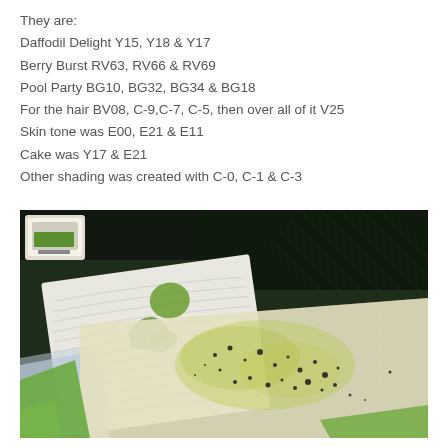They are:
Daffodil Delight Y15, Y18 & Y17
Berry Burst RV63, RV66 & RV69
Pool Party BG10, BG32, BG34 & BG18
For the hair BV08, C-9,C-7, C-5, then over all of it V25
Skin tone was E00, E21 & E11
Cake was Y17 & E21
Other shading was created with C-0, C-1 & C-3
[Figure (photo): A crafting workspace photo showing paper and stamps on a green cutting mat. There is a stack of white embossed paper with a green stamped image, parchment/glassine paper with green ink spots and black dots scattered across it, green cardstock strips, and a stamp ink pad in the upper left corner.]